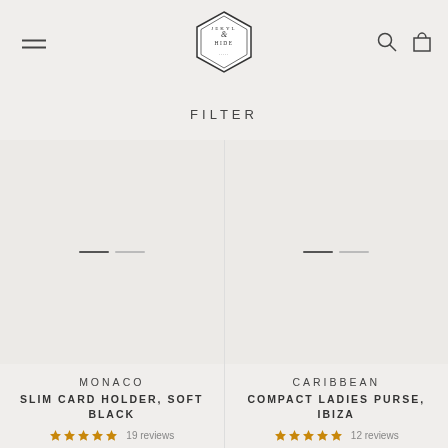Jekyll & Hide — navigation header with logo, hamburger menu, search and cart icons
FILTER
[Figure (photo): Product image area for Monaco Slim Card Holder, Soft Black with color swatch selectors]
MONACO
SLIM CARD HOLDER, SOFT BLACK
19 reviews
[Figure (photo): Product image area for Caribbean Compact Ladies Purse, Ibiza with color swatch selectors]
CARIBBEAN
COMPACT LADIES PURSE, IBIZA
12 reviews